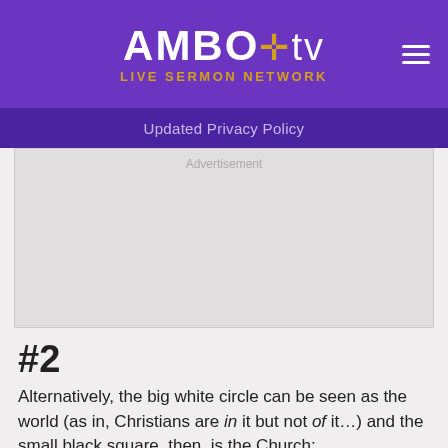AMBO tv LIVE SERMON NETWORK
Updated Privacy Policy
[Figure (other): Advertisement placeholder — grey rectangle]
#2
Alternatively, the big white circle can be seen as the world (as in, Christians are in it but not of it…) and the small black square, then, is the Church;